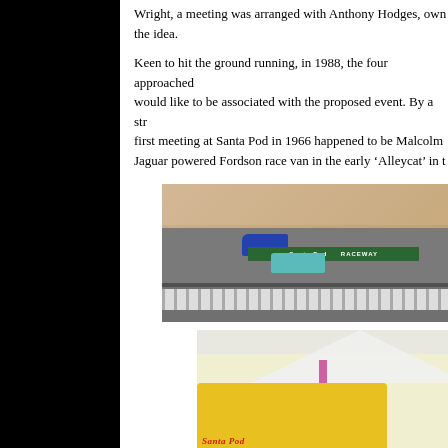Wright, a meeting was arranged with Anthony Hodges, own the idea.
Keen to hit the ground running, in 1988, the four approached would like to be associated with the proposed event. By a str first meeting at Santa Pod in 1966 happened to be Malcolm Jaguar powered Fordson race van in the early 'Alleycat' in t
[Figure (photo): Photograph of two cars on a drag racing track at Santa Pod Raceway. A blue car and a teal/green Mini van are staged on the track. Spectators in bleachers are visible in the background. A green barrier with 'Santa Pod RACEWAY' signage is visible.]
[Figure (photo): Photograph showing a yellow vehicle at what appears to be a Santa Pod event, with a white tent/canopy structure in the background and a pink post visible. 'Santa Pod' text visible on the vehicle.]